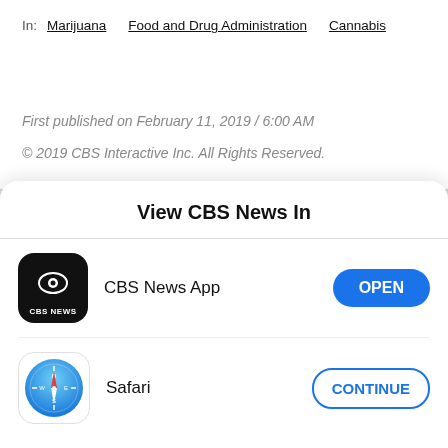In: Marijuana   Food and Drug Administration   Cannabis
First published on February 11, 2019 / 6:00 AM
© 2019 CBS Interactive Inc. All Rights Reserved.
View CBS News In
CBS News App
[Figure (logo): CBS News app icon - black rounded square with CBS eye logo and CBS NEWS text]
OPEN
Safari
[Figure (logo): Safari browser icon - blue compass/compass rose icon]
CONTINUE